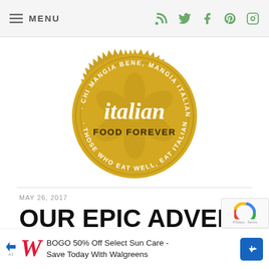MENU
[Figure (logo): Italian Food Forever circular gold seal/badge logo with text 'CHI MANGIA BENE, MANGIA ITALIANO · THOSE WHO EAT WELL, EAT ITALIAN' around the border, 'italian' in white script and 'FOOD FOREVER' in dark text in the center]
MAY 26, 2017
OUR EPIC ADVENTURE IN PUGLIA
DAYS
[Figure (other): Walgreens advertisement banner: BOGO 50% Off Select Sun Care - Save Today With Walgreens]